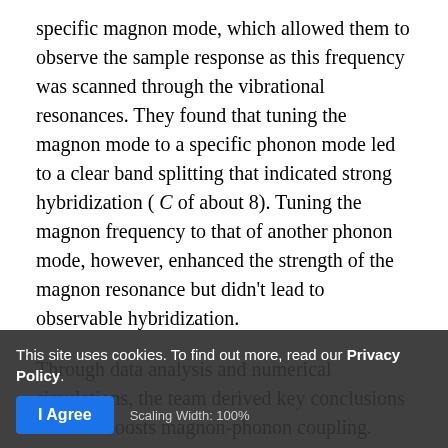specific magnon mode, which allowed them to observe the sample response as this frequency was scanned through the vibrational resonances. They found that tuning the magnon mode to a specific phonon mode led to a clear band splitting that indicated strong hybridization ( C of about 8). Tuning the magnon frequency to that of another phonon mode, however, enhanced the strength of the magnon resonance but didn't lead to observable hybridization.
Through data analysis and numerical simulations, the team derived key conclusions on what boosts magnon-phonon coupling. First, the hybridization of the modes is strongest when the modes' spatial distributions match. Second, a balanced strength of the modes is crucial to creating a hybridized state. When the excitation is concentrated on the phonons, they dominate the dynamics of the system and hybridization is not observed.
This site uses cookies. To find out more, read our Privacy Policy. [cookie banner overlay]